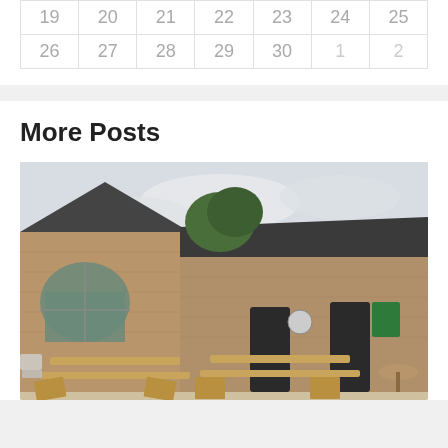| 19 | 20 | 21 | 22 | 23 | 24 | 25 |
| 26 | 27 | 28 | 29 | 30 | 1 | 2 |
More Posts
[Figure (photo): Exterior photograph of a stone barn building with an arched window facade on the left, converted into a visitor/hospitality venue with signage, and outdoor wooden picnic benches in the foreground courtyard. Trees visible in the background against an overcast sky.]